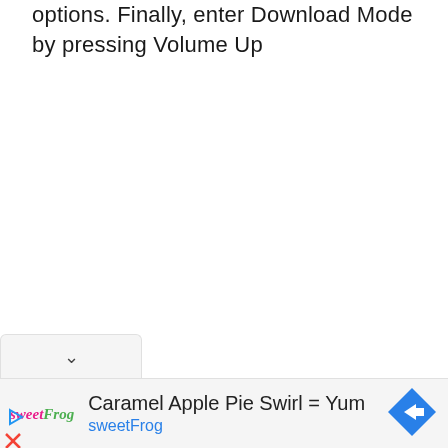options. Finally, enter Download Mode by pressing Volume Up
[Figure (screenshot): A collapsed UI panel with a chevron/down arrow indicator on a light gray tab bar]
[Figure (screenshot): An advertisement banner for sweetFrog frozen yogurt showing 'Caramel Apple Pie Swirl = Yum' with the sweetFrog logo and a blue navigation arrow icon]